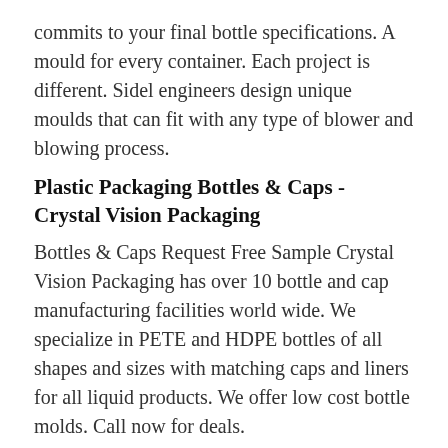commits to your final bottle specifications. A mould for every container. Each project is different. Sidel engineers design unique moulds that can fit with any type of blower and blowing process.
Plastic Packaging Bottles & Caps - Crystal Vision Packaging
Bottles & Caps Request Free Sample Crystal Vision Packaging has over 10 bottle and cap manufacturing facilities world wide. We specialize in PETE and HDPE bottles of all shapes and sizes with matching caps and liners for all liquid products. We offer low cost bottle molds. Call now for deals.
Alpha Packaging | Plastic Bottle Manufacturers | Plastic Jar ...
Alpha Packaging invests in technologies, people and processes that deliver plastic packaging solutions to a